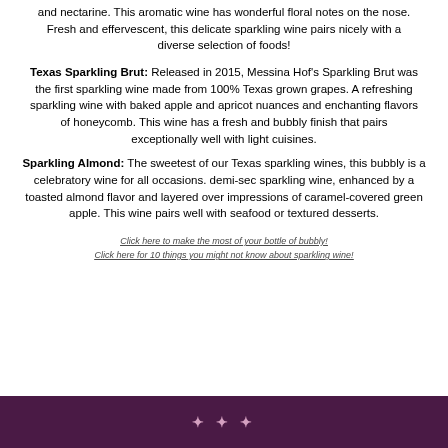and nectarine. This aromatic wine has wonderful floral notes on the nose. Fresh and effervescent, this delicate sparkling wine pairs nicely with a diverse selection of foods!
Texas Sparkling Brut: Released in 2015, Messina Hof's Sparkling Brut was the first sparkling wine made from 100% Texas grown grapes. A refreshing sparkling wine with baked apple and apricot nuances and enchanting flavors of honeycomb. This wine has a fresh and bubbly finish that pairs exceptionally well with light cuisines.
Sparkling Almond: The sweetest of our Texas sparkling wines, this bubbly is a celebratory wine for all occasions. demi-sec sparkling wine, enhanced by a toasted almond flavor and layered over impressions of caramel-covered green apple. This wine pairs well with seafood or textured desserts.
Click here to make the most of your bottle of bubbly!
Click here for 10 things you might not know about sparkling wine!
MESSINA HOF